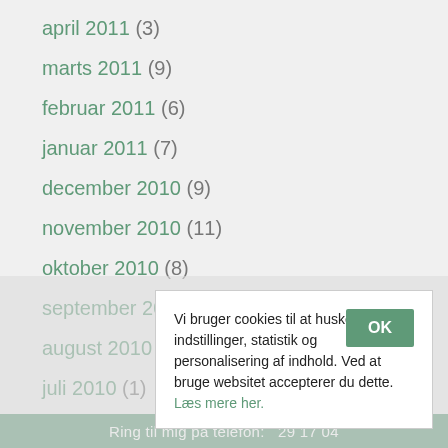april 2011 (3)
marts 2011 (9)
februar 2011 (6)
januar 2011 (7)
december 2010 (9)
november 2010 (11)
oktober 2010 (8)
september 2010 (6)
august 2010 (3)
juli 2010 (1)
juni 2010 (4)
maj 2010 (2)
april 2010 (1)
marts (2)
febr...
Vi bruger cookies til at huske dine indstillinger, statistik og personalisering af indhold. Ved at bruge websitet accepterer du dette. Læs mere her.
Ring til mig på telefon: ... 29 17 04